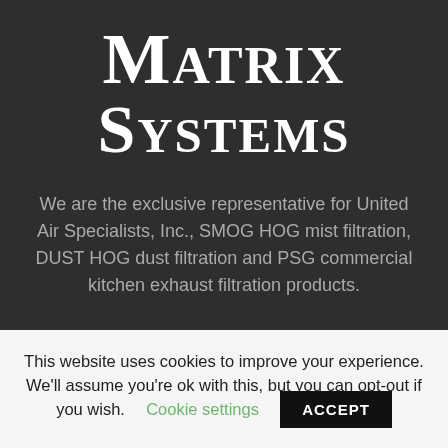MatriX Systems
We are the exclusive representative for United Air Specialists, Inc., SMOG HOG mist filtration, DUST HOG dust filtration and PSG commercial kitchen exhaust filtration products.
This website uses cookies to improve your experience. We'll assume you're ok with this, but you can opt-out if you wish. Cookie settings ACCEPT